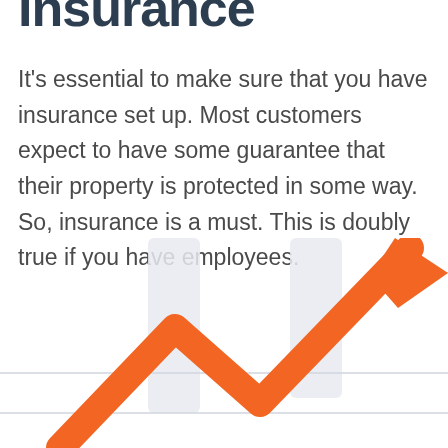Insurance
It's essential to make sure that you have insurance set up. Most customers expect to have some guarantee that their property is protected in some way. So, insurance is a must. This is doubly true if you have employees.
[Figure (infographic): An orange line chart arrow trending upward with light gray vertical bar decorations in the background, partially cropped at the bottom of the page.]